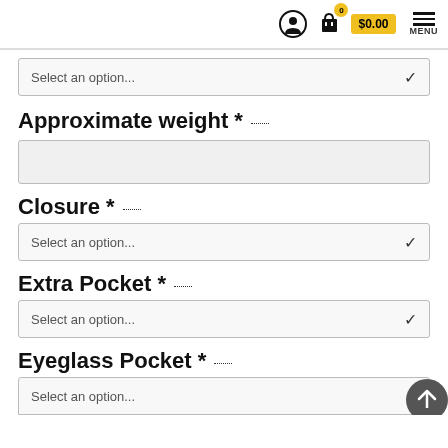$0.00 MENU
Select an option...
Approximate weight *
Closure *
Select an option...
Extra Pocket *
Select an option...
Eyeglass Pocket *
Select an option...